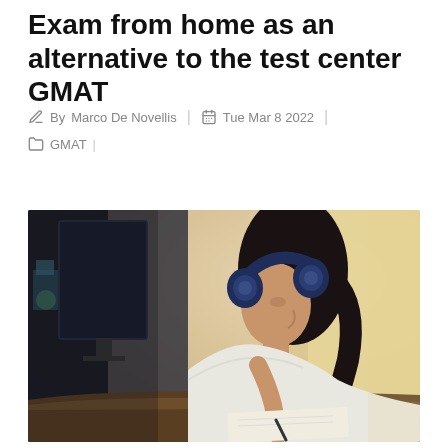Exam from home as an alternative to the test center GMAT
By Marco De Novellis | Tue Mar 8 2022 | GMAT
[Figure (photo): Young woman with dark headphones studying at a desk with a computer monitor in the background, writing on paper, wearing a white top, photographed from the side]